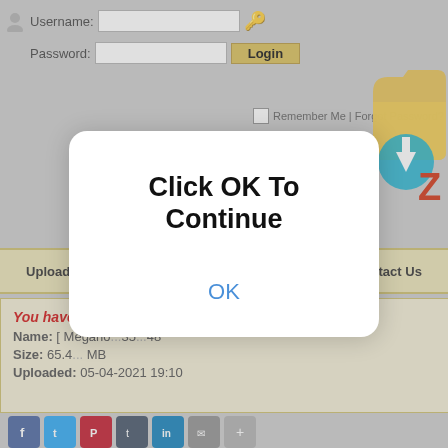[Figure (screenshot): Website login form screenshot showing Username/Password fields, Login button, Remember Me checkbox, navigation bar with Upload Files, F.A.Q, Upload Tools, Our Blog, Contact Us links, file info section showing 'You have requested the file:', Name: [Megano...], Size: 65.4... MB, Uploaded: 05-04-2021 19:10, social share icons, and a modal dialog overlay saying 'Click OK To Continue' with an OK button]